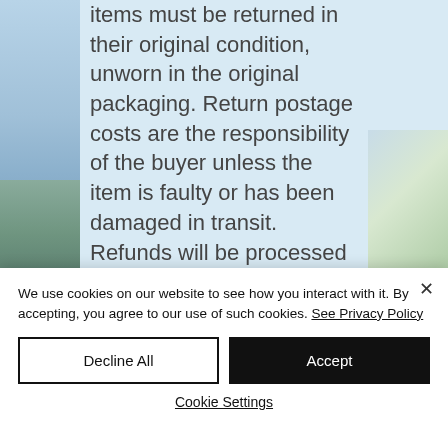Items must be returned in their original condition, unworn in the original packaging. Return postage costs are the responsibility of the buyer unless the item is faulty or has been damaged in transit. Refunds will be processed once the item is received back and using a postal service with proof of delivery is recommended
We use cookies on our website to see how you interact with it. By accepting, you agree to our use of such cookies. See Privacy Policy